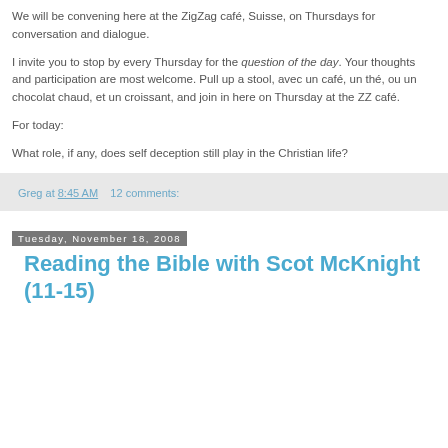We will be convening here at the ZigZag café, Suisse, on Thursdays for conversation and dialogue.
I invite you to stop by every Thursday for the question of the day. Your thoughts and participation are most welcome. Pull up a stool, avec un café, un thé, ou un chocolat chaud, et un croissant, and join in here on Thursday at the ZZ café.
For today:
What role, if any, does self deception still play in the Christian life?
Greg at 8:45 AM     12 comments:
Tuesday, November 18, 2008
Reading the Bible with Scot McKnight (11-15)